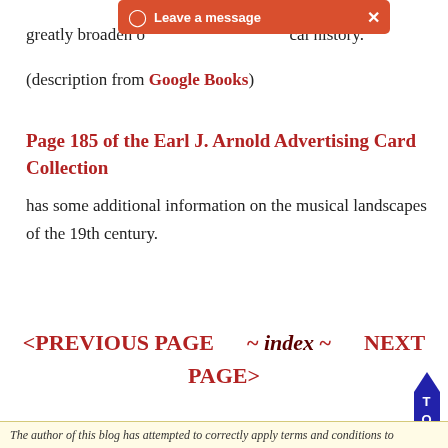[Figure (other): Orange notification bar overlay reading 'Leave a message' with a user icon and close X button]
greatly broaden o… cal history."
(description from Google Books)
Page 185 of the Earl J. Arnold Advertising Card Collection
has some additional information on the musical landscapes of the 19th century.
<PREVIOUS PAGE  ~ index ~  NEXT PAGE>
[Figure (other): Blue upward arrow with letters T O P stacked vertically]
The author of this blog has attempted to correctly apply terms and conditions to